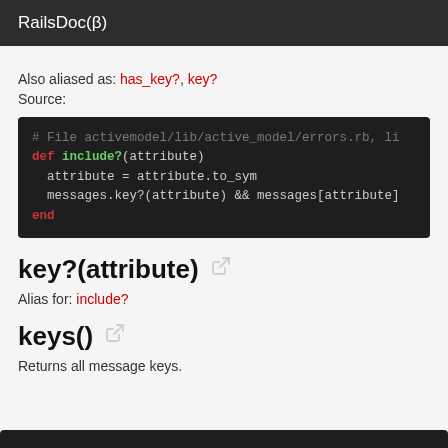RailsDoc(β)
Also aliased as: has_key?, key?
Source:
[Figure (screenshot): Code block showing Ruby method definition: # File activemodel/lib/active_model/errors.rb, li
def include?(attribute)
  attribute = attribute.to_sym
  messages.key?(attribute) && messages[attribute]
end]
key?(attribute)
Alias for: include?
keys()
Returns all message keys.